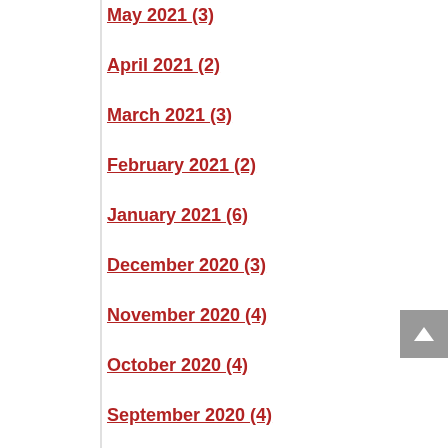May 2021 (3)
April 2021 (2)
March 2021 (3)
February 2021 (2)
January 2021 (6)
December 2020 (3)
November 2020 (4)
October 2020 (4)
September 2020 (4)
August 2020 (2)